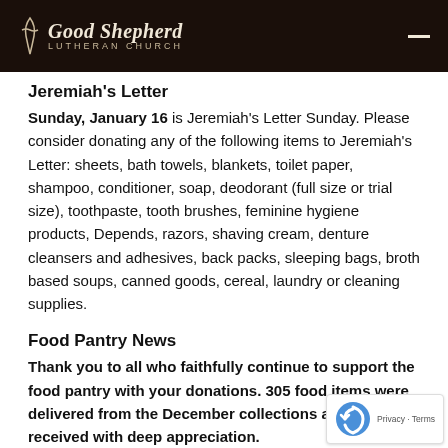Good Shepherd Lutheran Church
Jeremiah's Letter
Sunday, January 16 is Jeremiah's Letter Sunday. Please consider donating any of the following items to Jeremiah's Letter: sheets, bath towels, blankets, toilet paper, shampoo, conditioner, soap, deodorant (full size or trial size), toothpaste, tooth brushes, feminine hygiene products, Depends, razors, shaving cream, denture cleansers and adhesives, back packs, sleeping bags, broth based soups, canned goods, cereal, laundry or cleaning supplies.
Food Pantry News
Thank you to all who faithfully continue to support the food pantry with your donations. 305 food items were delivered from the December collections and were received with deep appreciation.